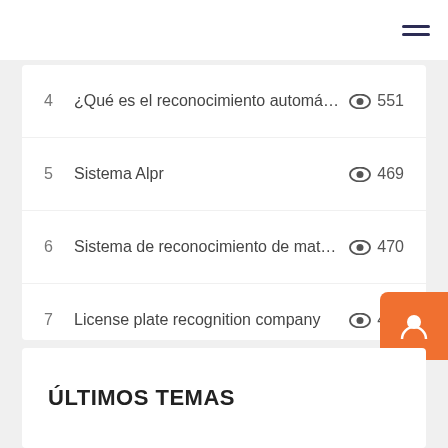4  ¿Qué es el reconocimiento automático ...  551
5  Sistema Alpr  469
6  Sistema de reconocimiento de matrícul...  470
7  License plate recognition company  462
8  IoT Based Smart Parking System Proje...  435
9  Reverse Engineering a Cat Genie to By...  376
10  ZKTeco POS POS Terminals | POS Soft...  372
ÚLTIMOS TEMAS